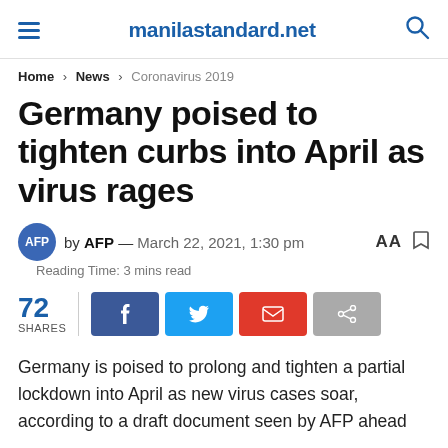manilastandard.net
Home > News > Coronavirus 2019
Germany poised to tighten curbs into April as virus rages
by AFP — March 22, 2021, 1:30 pm
Reading Time: 3 mins read
72 SHARES
Germany is poised to prolong and tighten a partial lockdown into April as new virus cases soar, according to a draft document seen by AFP ahead